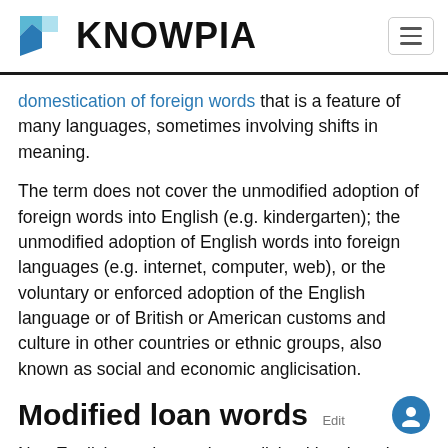KNOWPIA
domestication of foreign words that is a feature of many languages, sometimes involving shifts in meaning.
The term does not cover the unmodified adoption of foreign words into English (e.g. kindergarten); the unmodified adoption of English words into foreign languages (e.g. internet, computer, web), or the voluntary or enforced adoption of the English language or of British or American customs and culture in other countries or ethnic groups, also known as social and economic anglicisation.
Modified loan words Edit
Non-English words may be anglicised by changing